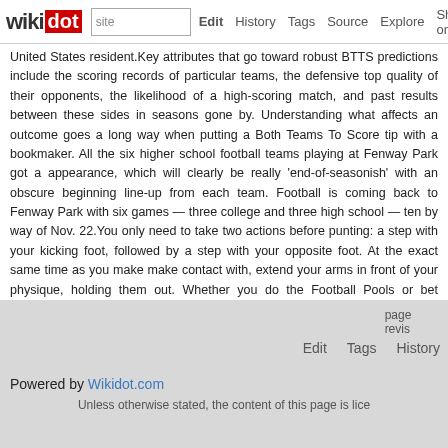wikidot | site | Edit | History | Tags | Source | Explore | Share on [Twitter]
United States resident.Key attributes that go toward robust BTTS pre... particular teams, the defensive top quality of their opponents, the likelih... match, and past results between these sides in seasons gone by. Unde... an outcome goes a long way when putting a Both Teams To Score tip wit... the six higher school football teams playing at Fenway Park got a app... clearly be really 'end-of-seasonish' with an obscure beginning line-up... Football is coming back to Fenway Park with six games — three college ... ten by way of Nov. 22.You only need to take two actions before punting... kicking foot, followed by a step with your opposite foot. At the exact sam... make make contact with, extend your arms in front of your physique, ho... you do the Football Pools or bet through a bookmaker, the following fo... boost your football benefits forecasts. By following our football betting gu... winning your bets on matches in the Premier League, the Champions... football competitions.
Comments: 0
Add a New Comment
page revi... Edit Tags History
Powered by Wikidot.com
Unless otherwise stated, the content of this page is lice...